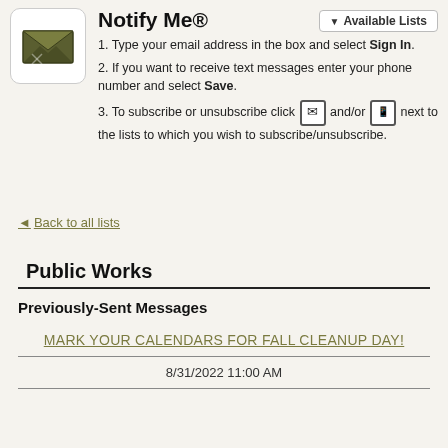Notify Me®
1. Type your email address in the box and select Sign In.
2. If you want to receive text messages enter your phone number and select Save.
3. To subscribe or unsubscribe click [email icon] and/or [phone icon] next to the lists to which you wish to subscribe/unsubscribe.
◄ Back to all lists
Public Works
Previously-Sent Messages
MARK YOUR CALENDARS FOR FALL CLEANUP DAY!
8/31/2022 11:00 AM